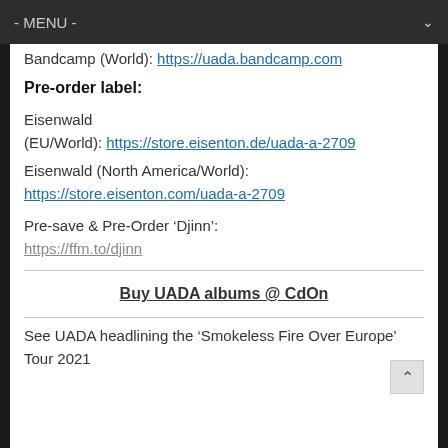- MENU -
Bandcamp (World): https://uada.bandcamp.com
Pre-order label:
Eisenwald (EU/World): https://store.eisenton.de/uada-a-2709
Eisenwald (North America/World): https://store.eisenton.com/uada-a-2709
Pre-save & Pre-Order ‘Djinn’: https://ffm.to/djinn
Buy UADA albums @ CdOn
See UADA headlining the ‘Smokeless Fire Over Europe’ Tour 2021